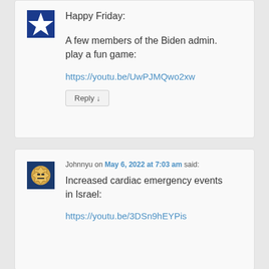Happy Friday:
A few members of the Biden admin. play a fun game:
https://youtu.be/UwPJMQwo2xw
Reply ↓
Johnnyu on May 6, 2022 at 7:03 am said:
Increased cardiac emergency events in Israel:
https://youtu.be/3DSn9hEYPis